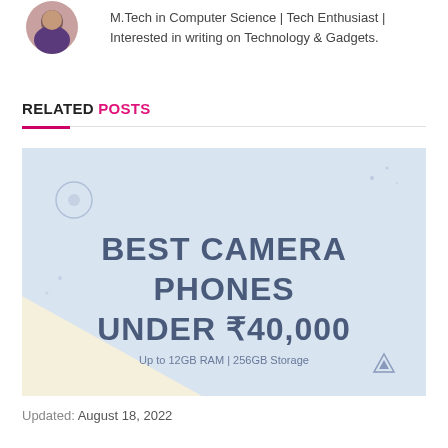[Figure (photo): Author avatar photo, partially visible at top left]
M.Tech in Computer Science | Tech Enthusiast | Interested in writing on Technology & Gadgets.
RELATED POSTS
[Figure (illustration): Article thumbnail image with light blue background and text: BEST CAMERA PHONES UNDER ₹40,000 Up to 12GB RAM | 256GB Storage]
Updated:  August 18, 2022